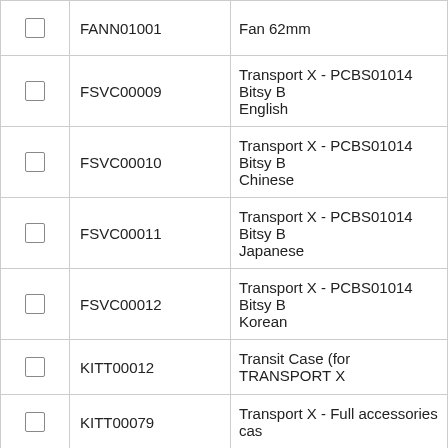|  | Code | Description |
| --- | --- | --- |
| ☐ | FANN01001 | Fan 62mm |
| ☐ | FSVC00009 | Transport X - PCBS01014 Bitsy B English |
| ☐ | FSVC00010 | Transport X - PCBS01014 Bitsy B Chinese |
| ☐ | FSVC00011 | Transport X - PCBS01014 Bitsy B Japanese |
| ☐ | FSVC00012 | Transport X - PCBS01014 Bitsy B Korean |
| ☐ | KITT00012 | Transit Case (for TRANSPORT X |
| ☐ | KITT00079 | Transport X - Full accessories cas |
| ☐ | KITT00132 | Full accessories case (3 Pins) (w |
| ☐ | KITT00138 | Transport X 2 - System Check Kit Canister) (KITT00138) |
| ☐ | KITT00140 | Transport X - Buchholz Kit (black) Measurements (KITT00140) |